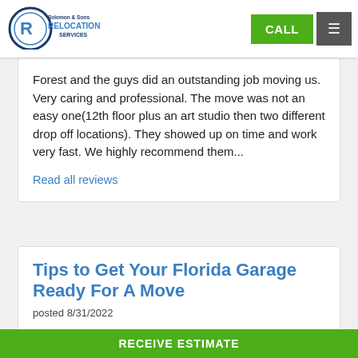Solomon & Sons Relocation Services — CALL | menu
Forest and the guys did an outstanding job moving us. Very caring and professional. The move was not an easy one(12th floor plus an art studio then two different drop off locations). They showed up on time and work very fast. We highly recommend them...
Read all reviews
Tips to Get Your Florida Garage Ready For A Move
posted 8/31/2022
Are you moving soon? If so, you're probably wondering how you're going to get all of your stuff out of your garage and into your new home. Never fear - we've got you covered! In...
RECEIVE ESTIMATE